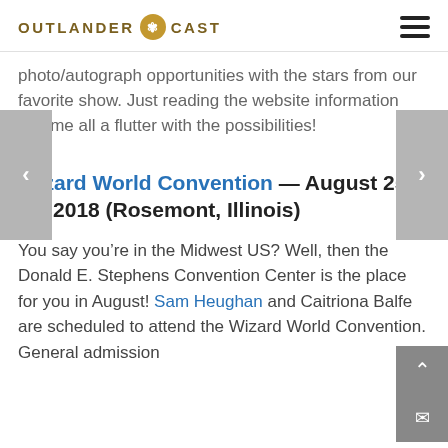OUTLANDER CAST
photo/autograph opportunities with the stars from our favorite show. Just reading the website information has me all a flutter with the possibilities!
Wizard World Convention — August 25 & 26, 2018 (Rosemont, Illinois)
You say you’re in the Midwest US? Well, then the Donald E. Stephens Convention Center is the place for you in August! Sam Heughan and Caitriona Balfe are scheduled to attend the Wizard World Convention. General admission